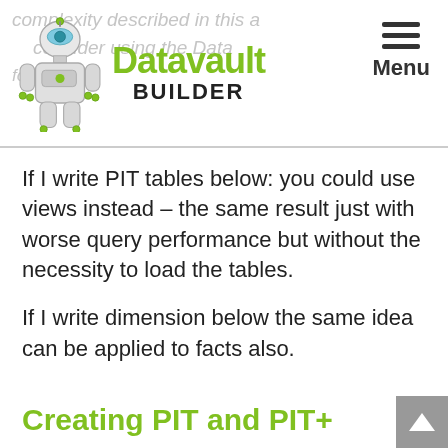[Figure (logo): Datavault Builder logo with robot mascot and green/black brand text, plus hamburger menu icon with 'Menu' label]
If I write PIT tables below: you could use views instead – the same result just with worse query performance but without the necessity to load the tables.
If I write dimension below the same idea can be applied to facts also.
Creating PIT and PIT+